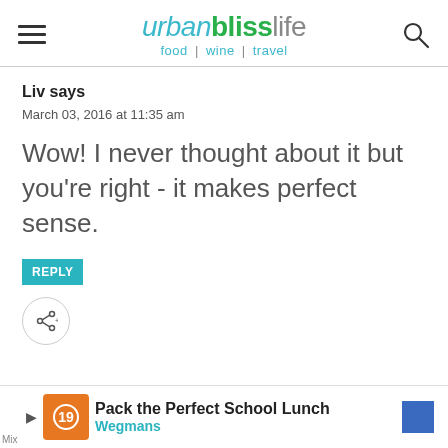urbanblisslife | food | wine | travel
Liv says
March 03, 2016 at 11:35 am
Wow! I never thought about it but you're right - it makes perfect sense.
REPLY
[Figure (other): Share button icon (circular button with share/network icon)]
[Figure (other): Advertisement bar: Pack the Perfect School Lunch - Wegmans]